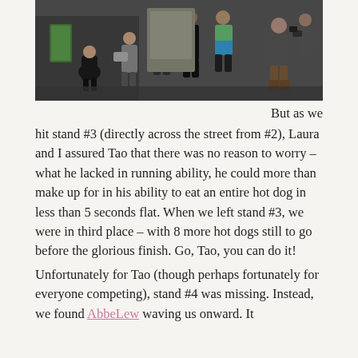[Figure (photo): Outdoor photo of several people standing and bending near what appears to be a food/race stand on a wet street or plaza. People are dressed in athletic and winter clothing.]
But as we hit stand #3 (directly across the street from #2), Laura and I assured Tao that there was no reason to worry – what he lacked in running ability, he could more than make up for in his ability to eat an entire hot dog in less than 5 seconds flat. When we left stand #3, we were in third place – with 8 more hot dogs still to go before the glorious finish. Go, Tao, you can do it!
Unfortunately for Tao (though perhaps fortunately for everyone competing), stand #4 was missing. Instead, we found AbbeLew waving us onward. It